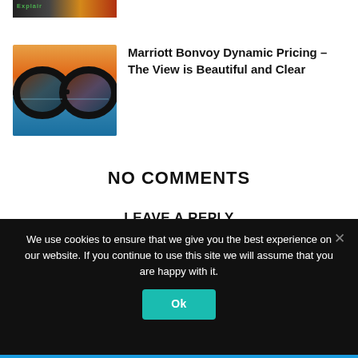[Figure (photo): Partial thumbnail image with green text 'Explain...' on dark background]
[Figure (photo): Thumbnail of glasses with sunset/ocean scene reflected in lenses]
Marriott Bonvoy Dynamic Pricing – The View is Beautiful and Clear
NO COMMENTS
LEAVE A REPLY
Comment:
We use cookies to ensure that we give you the best experience on our website. If you continue to use this site we will assume that you are happy with it.